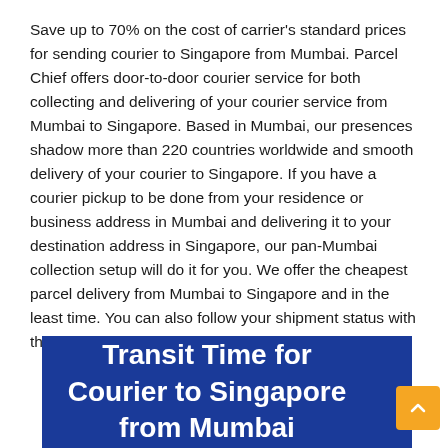Save up to 70% on the cost of carrier's standard prices for sending courier to Singapore from Mumbai. Parcel Chief offers door-to-door courier service for both collecting and delivering of your courier service from Mumbai to Singapore. Based in Mumbai, our presences shadow more than 220 countries worldwide and smooth delivery of your courier to Singapore. If you have a courier pickup to be done from your residence or business address in Mumbai and delivering it to your destination address in Singapore, our pan-Mumbai collection setup will do it for you. We offer the cheapest parcel delivery from Mumbai to Singapore and in the least time. You can also follow your shipment status with the tracking number provided to you.
Transit Time for Courier to Singapore from Mumbai